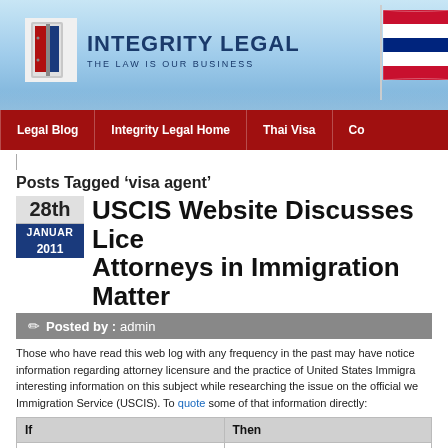[Figure (logo): Integrity Legal logo with red/blue door icon and tagline 'The Law Is Our Business', Thai flag in background]
Legal Blog | Integrity Legal Home | Thai Visa | Co...
Posts Tagged 'visa agent'
USCIS Website Discusses Licensed Attorneys in Immigration Matters
28th JANUARY 2011
Posted by : admin
Those who have read this web log with any frequency in the past may have noticed information regarding attorney licensure and the practice of United States Immigration interesting information on this subject while researching the issue on the official we Immigration Service (USCIS). To quote some of that information directly:
| If | Then |
| --- | --- |
| You are filing within the United States | Attorneys and accredited representatives and receive information from USCIS r... |